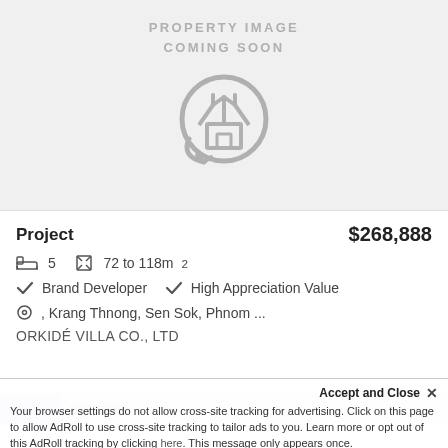[Figure (illustration): Property image coming soon placeholder with house icon inside a circle, grey text on light grey background]
Project   $268,888
🛏 5   ⊠ 72 to 118m²
✔ Brand Developer   ✔ High Appreciation Value
⊙ , Krang Thnong, Sen Sok, Phnom ...
ORKIDÉ VILLA CO., LTD
$268,888 (preview strip)
Accept and Close ×
Your browser settings do not allow cross-site tracking for advertising. Click on this page to allow AdRoll to use cross-site tracking to tailor ads to you. Learn more or opt out of this AdRoll tracking by clicking here. This message only appears once.